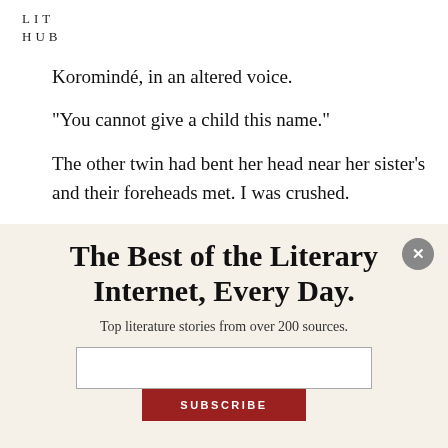LIT
HUB
Koromindé, in an altered voice.
“You cannot give a child this name.”
The other twin had bent her head near her sister’s and their foreheads met. I was crushed.
The Best of the Literary Internet, Every Day.
Top literature stories from over 200 sources.